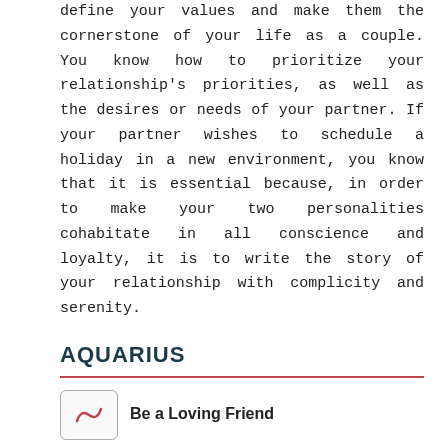define your values and make them the cornerstone of your life as a couple. You know how to prioritize your relationship's priorities, as well as the desires or needs of your partner. If your partner wishes to schedule a holiday in a new environment, you know that it is essential because, in order to make your two personalities cohabitate in all conscience and loyalty, it is to write the story of your relationship with complicity and serenity.
AQUARIUS
Be a Loving Friend